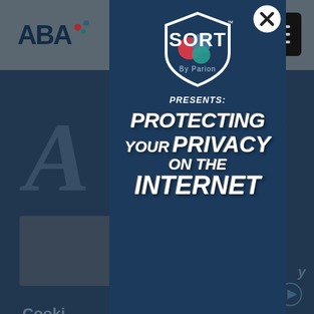[Figure (screenshot): Screenshot of ABA website with cookie consent overlay, partially obscured by a SORT by Parion promotional modal. The background shows the ABA logo top-left, hamburger menu top-right, large decorative letters A and bracket, cookie notice text, and partial body text. A dark blue modal overlays the center with the SORT By Parion shield logo, PRESENTS: text, and large bold italic text reading PROTECTING YOUR PRIVACY ON THE INTERNET. A close button (X in circle) appears top-right of modal.]